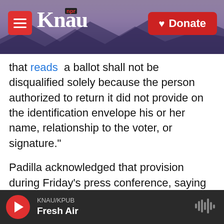KNAU NPR — Donate
that reads a ballot shall not be disqualified solely because the person authorized to return it did not provide on the identification envelope his or her name, relationship to the voter, or signature."
Padilla acknowledged that provision during Friday's press conference, saying the state would not punish a voter over the actions of the state party.
Hiltachk noted that it was "perhaps an overzealous volunteer" who affixed the "official" label to what he says was only a handful of boxes.
"That was unfortunate but that was dealt with
KNAU/KPUB — Fresh Air